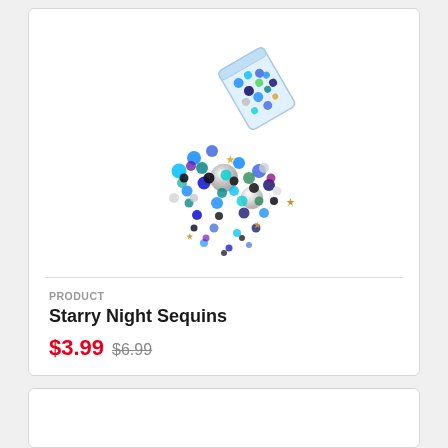[Figure (photo): A clear plastic cylindrical container tipped on its side with colorful mixed sequins and glitter spilling out — blues, greens, blacks, silvers, and gold star shapes.]
PRODUCT
Starry Night Sequins
$3.99 $6.99